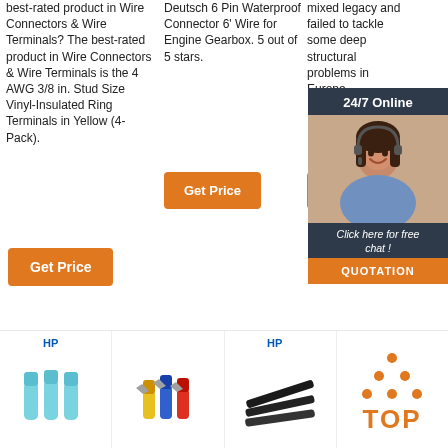best-rated product in Wire Connectors & Wire Terminals? The best-rated product in Wire Connectors & Wire Terminals is the 4 AWG 3/8 in. Stud Size Vinyl-Insulated Ring Terminals in Yellow (4-Pack).
Deutsch 6 Pin Waterproof Connector 6' Wire for Engine Gearbox. 5 out of 5 stars.
mixed legacy and failed to tackle some deep structural problems in Europe.
24/7 Online
[Figure (photo): Customer service woman wearing headset, smiling, online chat representative]
Click here for free chat !
QUOTATION
Get Price
Get Price
Get
[Figure (photo): Blue wire connector terminals - HP brand product image]
[Figure (photo): Mixed color wire connectors with ring terminals - HP brand product image]
[Figure (photo): Black cable ties/zip ties - HP brand product image]
[Figure (logo): TOP logo with orange dots arranged in triangle above the word TOP in orange]